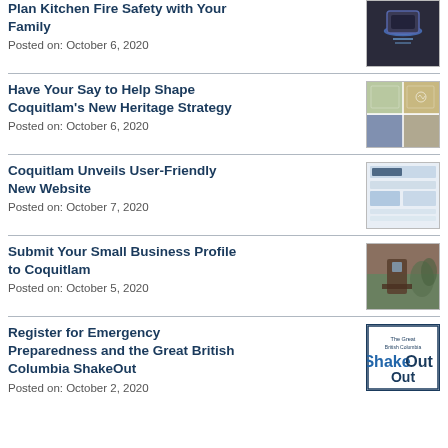Plan Kitchen Fire Safety with Your Family
Posted on: October 6, 2020
Have Your Say to Help Shape Coquitlam's New Heritage Strategy
Posted on: October 6, 2020
Coquitlam Unveils User-Friendly New Website
Posted on: October 7, 2020
Submit Your Small Business Profile to Coquitlam
Posted on: October 5, 2020
Register for Emergency Preparedness and the Great British Columbia ShakeOut
Posted on: October 2, 2020